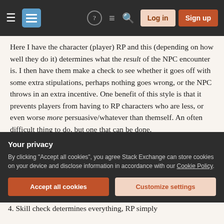Stack Exchange navigation bar with Log in and Sign up buttons
Here I have the character (player) RP and this (depending on how well they do it) determines what the result of the NPC encounter is. I then have them make a check to see whether it goes off with some extra stipulations, perhaps nothing goes wrong, or the NPC throws in an extra incentive. One benefit of this style is that it prevents players from having to RP characters who are less, or even worse more persuasive/whatever than themself. An often difficult thing to do, but one that can be done.
3. Skill check determines the result, RP determines
[Figure (screenshot): Cookie consent privacy banner with 'Accept all cookies' and 'Customize settings' buttons on dark background]
4. Skill check determines everything, RP simply